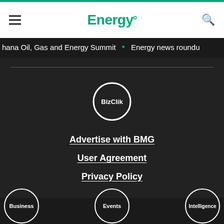Energy (logo) with hamburger menu and search icon
hana Oil, Gas and Energy Summit • Energy news roundu
[Figure (logo): BizClik circular logo — white circle outline with 'BizClik' text inside on dark background]
Advertise with BMG
User Agreement
Privacy Policy
[Figure (logo): Three circular logos at the bottom: Business, Events, Intelligence]
Business | Events | Intelligence